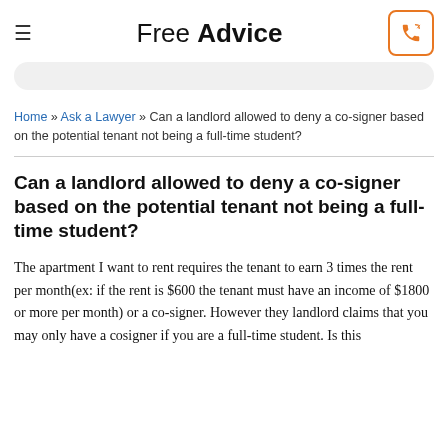Free Advice
Home » Ask a Lawyer » Can a landlord allowed to deny a co-signer based on the potential tenant not being a full-time student?
Can a landlord allowed to deny a co-signer based on the potential tenant not being a full-time student?
The apartment I want to rent requires the tenant to earn 3 times the rent per month(ex: if the rent is $600 the tenant must have an income of $1800 or more per month) or a co-signer. However they landlord claims that you may only have a cosigner if you are a full-time student. Is this